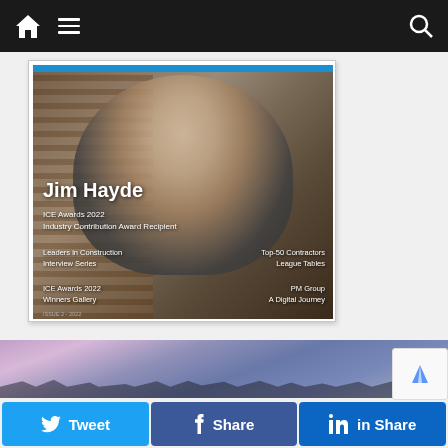[Figure (screenshot): Website navigation bar with home icon, hamburger menu, and search icon on dark background]
[Figure (photo): Magazine cover featuring Jim Hayde, ICE Awards 2022 Industry Contribution Award Recipient. Cover text includes: Leaders in Construction Interview Series, Top-50 Contractors League Tables, ICE Awards 2022 Winners Gallery, PM Group A Digital Journey. Issue 2 - 2022.]
[Figure (photo): Landscape/cityscape photo with purple-blue sky at bottom of page]
[Figure (screenshot): Social share buttons: Twitter (blue), Facebook (blue), LinkedIn (dark blue)]